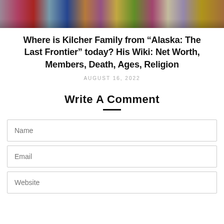[Figure (photo): Group photo of the Kilcher family members standing together in colorful clothing, cropped to show torsos and lower faces.]
Where is Kilcher Family from “Alaska: The Last Frontier” today? His Wiki: Net Worth, Members, Death, Ages, Religion
AUGUST 16, 2022
Write A Comment
Name
Email
Website